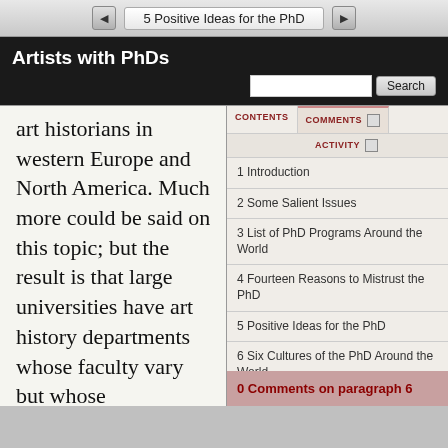5 Positive Ideas for the PhD
Artists with PhDs
art historians in western Europe and North America. Much more could be said on this topic; but the result is that large universities have art history departments whose faculty vary but whose
1 Introduction
2 Some Salient Issues
3 List of PhD Programs Around the World
4 Fourteen Reasons to Mistrust the PhD
5 Positive Ideas for the PhD
6 Six Cultures of the PhD Around the World
0 Comments on paragraph 6